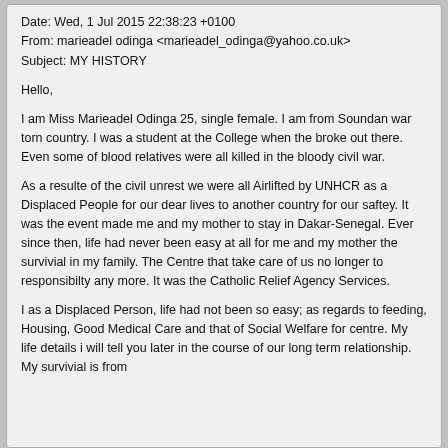Date: Wed, 1 Jul 2015 22:38:23 +0100
From: marieadel odinga <marieadel_odinga@yahoo.co.uk>
Subject: MY HISTORY
Hello,
I am Miss Marieadel Odinga 25, single female. I am from Soundan war torn country. I was a student at the College when the broke out there. Even some of blood relatives were all killed in the bloody civil war.
As a resulte of the civil unrest we were all Airlifted by UNHCR as a Displaced People for our dear lives to another country for our saftey. It was the event made me and my mother to stay in Dakar-Senegal. Ever since then, life had never been easy at all for me and my mother the survivial in my family. The Centre that take care of us no longer to responsibilty any more. It was the Catholic Relief Agency Services.
I as a Displaced Person, life had not been so easy; as regards to feeding, Housing, Good Medical Care and that of Social Welfare for centre. My life details i will tell you later in the course of our long term relationship. My survivial is from